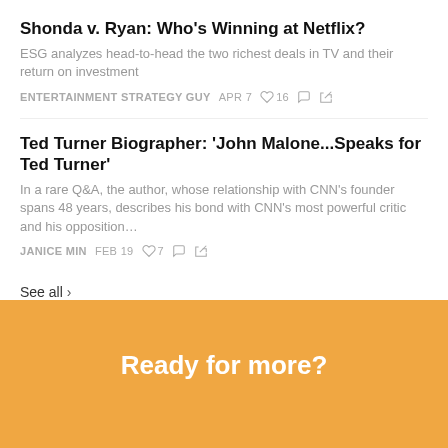Shonda v. Ryan: Who's Winning at Netflix?
ESG analyzes head-to-head the two richest deals in TV and their return on investment
ENTERTAINMENT STRATEGY GUY  APR 7  ♡ 16  ○  ↗
Ted Turner Biographer: 'John Malone...Speaks for Ted Turner'
In a rare Q&A, the author, whose relationship with CNN's founder spans 48 years, describes his bond with CNN's most powerful critic and his opposition…
JANICE MIN  FEB 19  ♡ 7  ○  ↗
See all ›
Ready for more?